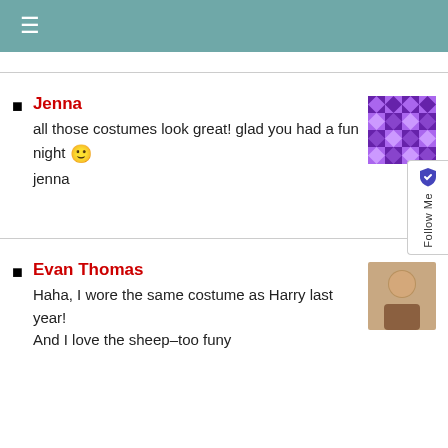≡
Jenna
all those costumes look great! glad you had a fun night 🙂
jenna
Evan Thomas
Haha, I wore the same costume as Harry last year!
And I love the sheep–too funy